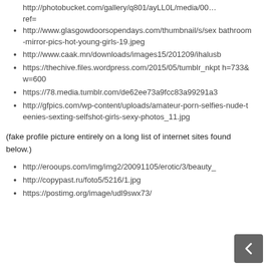http://photobucket.com/gallery/q801/ayLL0L/media/00... ref=
http://www.glasgowdoorsopendays.com/thumbnail/s/sex bathroom-mirror-pics-hot-young-girls-19.jpeg
http://www.caak.mn/downloads/images15/201209/ihalusb
https://thechive.files.wordpress.com/2015/05/tumblr_nkpt h=733&w=600
https://78.media.tumblr.com/de62ee73a9fcc83a99291a3
http://gfpics.com/wp-content/uploads/amateur-porn-selfies-nude-teenies-sexting-selfshot-girls-sexy-photos_11.jpg
(fake profile picture entirely on a long list of internet sites found below.)
http://erooups.com/img/img2/20091105/erotic/3/beauty_
http://copypast.ru/foto5/5216/1.jpg
https://postimg.org/image/udl9swx73/